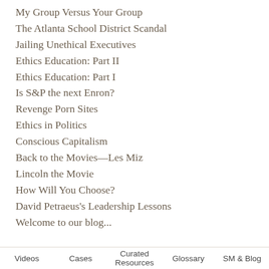My Group Versus Your Group
The Atlanta School District Scandal
Jailing Unethical Executives
Ethics Education: Part II
Ethics Education: Part I
Is S&P the next Enron?
Revenge Porn Sites
Ethics in Politics
Conscious Capitalism
Back to the Movies—Les Miz
Lincoln the Movie
How Will You Choose?
David Petraeus's Leadership Lessons
Welcome to our blog...
Videos   Cases   Curated Resources   Glossary   SM & Blog